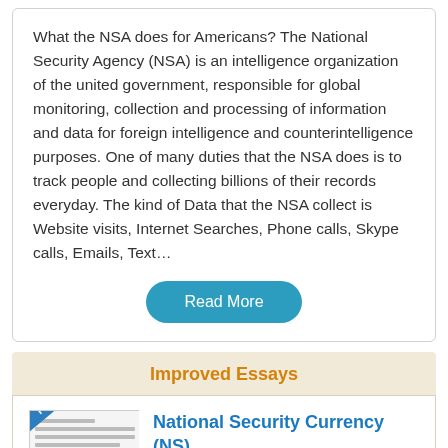What the NSA does for Americans? The National Security Agency (NSA) is an intelligence organization of the united government, responsible for global monitoring, collection and processing of information and data for foreign intelligence and counterintelligence purposes. One of many duties that the NSA does is to track people and collecting billions of their records everyday. The kind of Data that the NSA collect is Website visits, Internet Searches, Phone calls, Skype calls, Emails, Text…
Read More
Improved Essays
[Figure (other): Preview thumbnail of an essay document with a blue 'Preview' diagonal banner in the top-left corner]
National Security Currency (NS)
267 Words